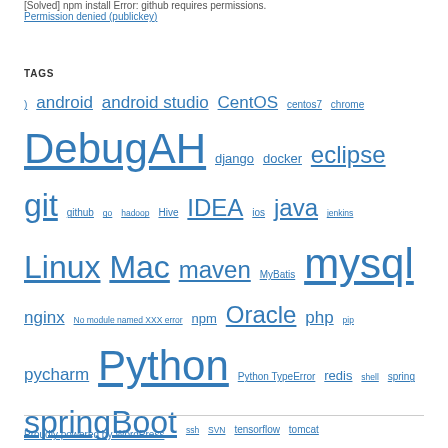[Solved] npm install Error: github requires permissions. Permission denied (publickey)
TAGS
) android android studio CentOS centos7 chrome DebugAH django docker eclipse git github go hadoop Hive IDEA ios java jenkins Linux Mac maven MyBatis mysql nginx No module named XXX error npm Oracle php pip pycharm Python Python TypeError redis shell spring springBoot ssh SVN tensorflow tomcat ubuntu vue Windows Yum
Proudly powered by WordPress